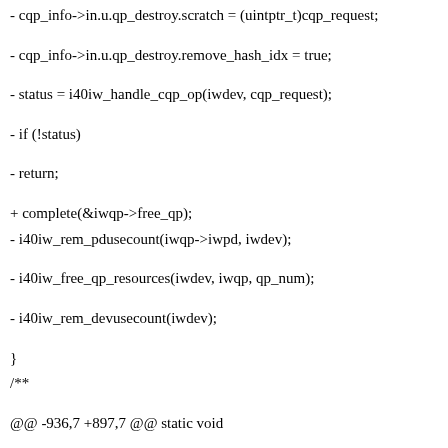- cqp_info->in.u.qp_destroy.scratch = (uintptr_t)cqp_request;
- cqp_info->in.u.qp_destroy.remove_hash_idx = true;
- status = i40iw_handle_cqp_op(iwdev, cqp_request);
- if (!status)
- return;
+ complete(&iwqp->free_qp);
- i40iw_rem_pdusecount(iwqp->iwpd, iwdev);
- i40iw_free_qp_resources(iwdev, iwqp, qp_num);
- i40iw_rem_devusecount(iwdev);
}
/**
@@ -936,7 +897,7 @@ static void
i40iw_terminate_timeout(struct timer_list *t)
struct i40iw_sc_qp *qp = (struct i40iw_sc_qp *)&iwqp->sc_qp;
i40iw_terminate_done(qp, 1);
- i40iw_rem_ref(&iwqp->ibqp);
+ i40iw_qp_rem_ref(&iwqp->ibqp);
}
/**
@@ -948,7 +909,7 @@ void i40iw_terminate_start_timer(struct
i40iw_sc_qp *qp)
struct i40iw_qp *iwqp;